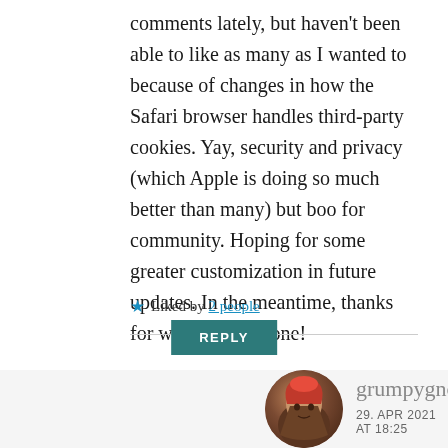comments lately, but haven't been able to like as many as I wanted to because of changes in how the Safari browser handles third-party cookies. Yay, security and privacy (which Apple is doing so much better than many) but boo for community. Hoping for some greater customization in future updates. In the meantime, thanks for writing, everyone!
★ Liked by 2 people
REPLY
grumpygnome101
29. APR 2021 AT 18:25